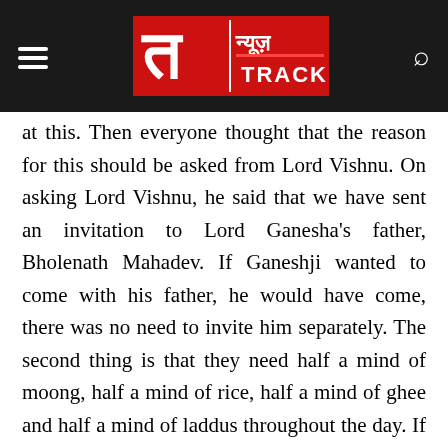न्यूज़ TRACK
at this. Then everyone thought that the reason for this should be asked from Lord Vishnu. On asking Lord Vishnu, he said that we have sent an invitation to Lord Ganesha's father, Bholenath Mahadev. If Ganeshji wanted to come with his father, he would have come, there was no need to invite him separately. The second thing is that they need half a mind of moong, half a mind of rice, half a mind of ghee and half a mind of laddus throughout the day. If Ganeshji doesn't come, it doesn't matter. It doesn't feel good to go to someone else's house and drink so much food.
They were talking so much that one of them